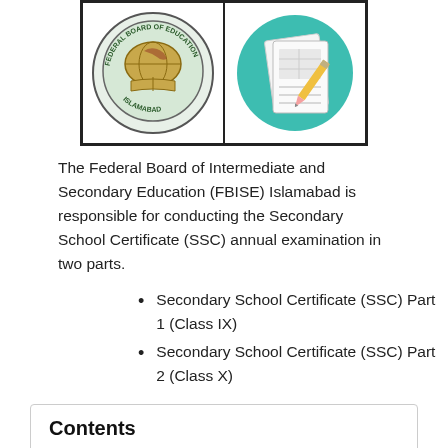[Figure (illustration): Two images side by side in a bordered frame: left is the FBISE Islamabad circular logo/seal with a globe and book, right is a clipart illustration of exam/answer sheets with a pencil on a teal circular background.]
The Federal Board of Intermediate and Secondary Education (FBISE) Islamabad is responsible for conducting the Secondary School Certificate (SSC) annual examination in two parts.
Secondary School Certificate (SSC) Part 1 (Class IX)
Secondary School Certificate (SSC) Part 2 (Class X)
Contents